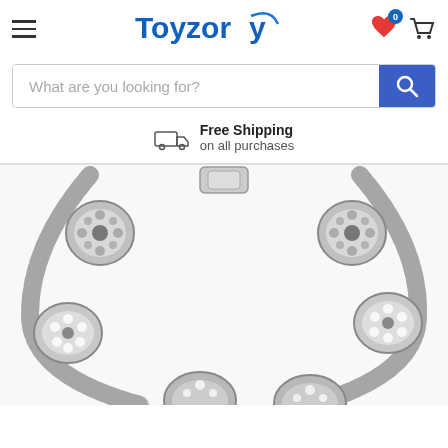[Figure (screenshot): Toyzory e-commerce website header with hamburger menu, logo, heart wishlist icon with badge 0, and cart icon]
[Figure (screenshot): Search bar with placeholder text 'What are you looking for?' and blue search button]
Free Shipping
on all purchases
[Figure (photo): Close-up photo of a silver charm bracelet with decorative beads featuring floral patterns and crystal embellishments on a white background]